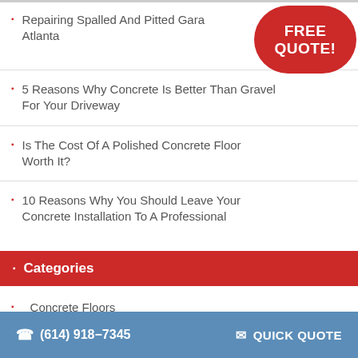Repairing Spalled And Pitted Garage Floors Atlanta
5 Reasons Why Concrete Is Better Than Gravel For Your Driveway
Is The Cost Of A Polished Concrete Floor Worth It?
10 Reasons Why You Should Leave Your Concrete Installation To A Professional
Categories
Concrete Floors
(614) 918-7345   QUICK QUOTE